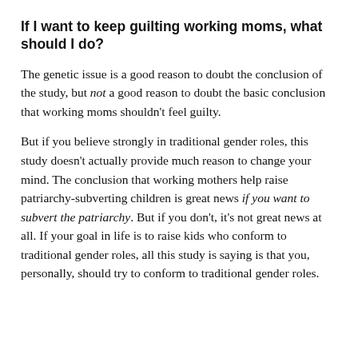If I want to keep guilting working moms, what should I do?
The genetic issue is a good reason to doubt the conclusion of the study, but not a good reason to doubt the basic conclusion that working moms shouldn't feel guilty.
But if you believe strongly in traditional gender roles, this study doesn't actually provide much reason to change your mind. The conclusion that working mothers help raise patriarchy-subverting children is great news if you want to subvert the patriarchy. But if you don't, it's not great news at all. If your goal in life is to raise kids who conform to traditional gender roles, all this study is saying is that you, personally, should try to conform to traditional gender roles.